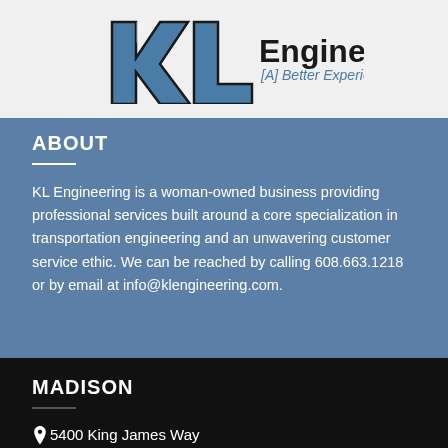[Figure (logo): KL Engineering logo with blue stylized KL letters and text 'KL Engineering [A] Better Experience']
ABOUT
KL Engineering is a woman-owned business providing professional services built around a core specialization in transportation engineering and an unwavering customer service ethic. We can be reached by calling 608.663.1218 or by email at info@klengineering.com.
MADISON
5400 King James Way
Suite 200
Madison, WI 53719